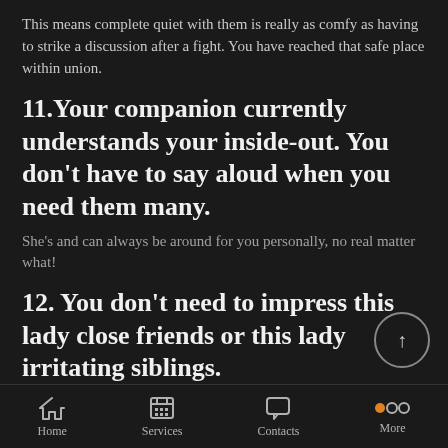This means complete quiet with them is really as comfy as having to strike a discussion after a fight. You have reached that safe place within union.
11. Your companion currently understands your inside-out. You don't have to say aloud when you need them many.
She's and can always be around for you personally, no real matter what!
12. You don't need to impress this lady close friends or this lady irritating siblings.
They currently as if you, tiger! ☺
13. You don't have to be concerned with
Home   Services   Contacts   More